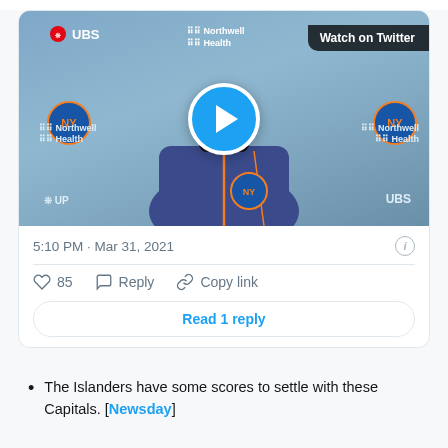[Figure (screenshot): Twitter/social media embed showing a video thumbnail of an NHL Islanders coach wearing a black mask and blue team jacket, with UBS and Northwell Health sponsor logos on the background banner. A blue play button is overlaid in the center. A 'Watch on Twitter' badge appears in the top right.]
5:10 PM · Mar 31, 2021
85   Reply   Copy link
Read 1 reply
The Islanders have some scores to settle with these Capitals. [Newsday]